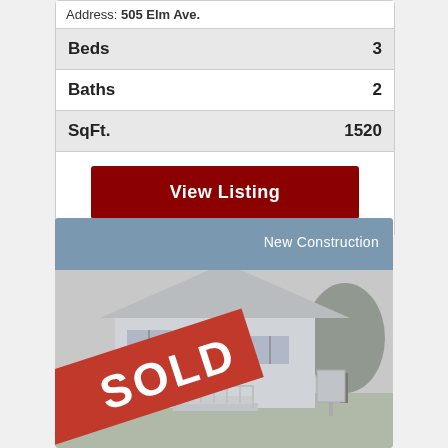Address: 505 Elm Ave.
|  |  |
| --- | --- |
| Beds | 3 |
| Baths | 2 |
| SqFt. | 1520 |
View Listing
[Figure (photo): Photo of a single-story house with white siding, front porch with stairs, and trees in background. A large red SOLD banner is overlaid diagonally on the lower portion of the image. The card header shows 'New Construction' label on a steel blue background.]